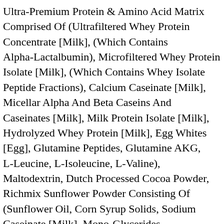Ultra-Premium Protein & Amino Acid Matrix Comprised Of (Ultrafiltered Whey Protein Concentrate [Milk], (Which Contains Alpha-Lactalbumin), Microfiltered Whey Protein Isolate [Milk], (Which Contains Whey Isolate Peptide Fractions), Calcium Caseinate [Milk], Micellar Alpha And Beta Caseins And Caseinates [Milk], Milk Protein Isolate [Milk], Hydrolyzed Whey Protein [Milk], Egg Whites [Egg], Glutamine Peptides, Glutamine AKG, L-Leucine, L-Isoleucine, L-Valine), Maltodextrin, Dutch Processed Cocoa Powder, Richmix Sunflower Powder Consisting Of (Sunflower Oil, Corn Syrup Solids, Sodium Caseinate [Milk], Mono-Glycerides, Di-Glycerides, Di-Potassium Phosphate), Litesse® II Polydextrose, Natural And Artificial Flavors, Nutrisperse MCT Powder Consisting Of (Medium Chain Triglycerides, Nonfat Dry Milk, Di-